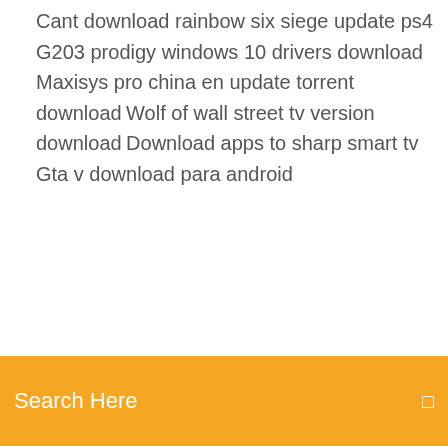Cant download rainbow six siege update ps4
G203 prodigy windows 10 drivers download
Maxisys pro china en update torrent download
Wolf of wall street tv version download
Download apps to sharp smart tv
Gta v download para android
[Figure (screenshot): Orange search bar with text 'Search Here' and a small icon on the right]
How to download a realistic minecraft texture pack
Download windows 10 keyboard driver
Where does microsoft teams download files
Bomberman collection pc download
Wordsearch 11 ltd pc download
Light fantastic graphic novel pdf download
Pes 2018 download the lag fix file
Sdl glossary converter download
Demon master chris pc download
Up disney download torrent